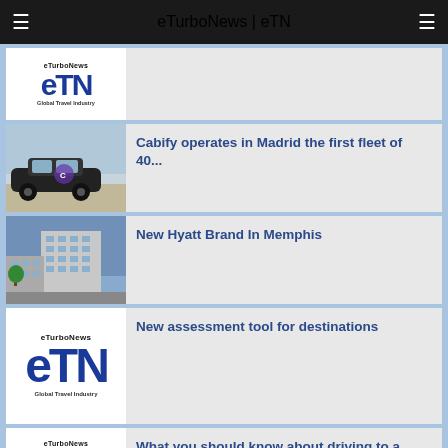eTurboNews | eTN
[Figure (logo): eTN Global Travel Industry logo thumbnail (partially visible)]
Cabify operates in Madrid the first fleet of 40...
New Hyatt Brand In Memphis
New assessment tool for destinations
What you should know about driving to a festival